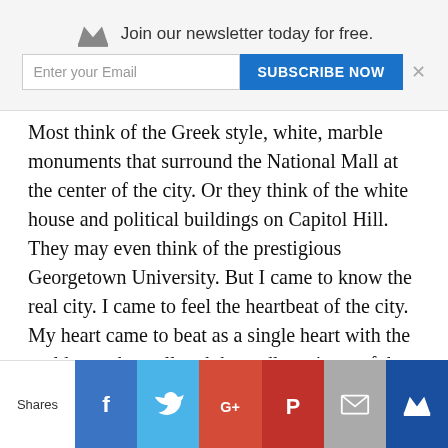[Figure (other): Newsletter subscription banner with crown icon, 'Join our newsletter today for free.' text, email input field, SUBSCRIBE NOW button, and close X]
Most think of the Greek style, white, marble monuments that surround the National Mall at the center of the city. Or they think of the white house and political buildings on Capitol Hill. They may even think of the prestigious Georgetown University. But I came to know the real city. I came to feel the heartbeat of the city. My heart came to beat as a single heart with the moldy musk smell and the endless sirens of the inner city; of the real city.
In the vast corners of the city, to the forgotten ones, live some of the most amazing people this world has to offer, and they have arrived from every
[Figure (other): Social share bar with Shares label, Facebook, Twitter, Google+, Pinterest, Email, and crown/newsletter buttons]